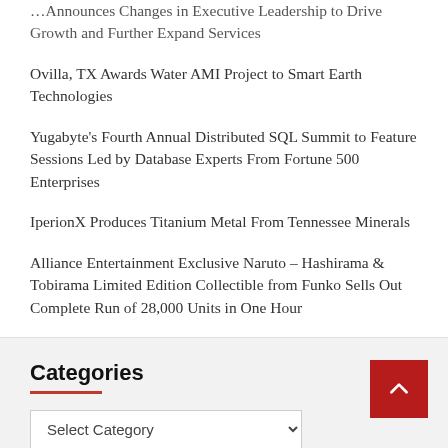...Announces Changes in Executive Leadership to Drive Growth and Further Expand Services
Ovilla, TX Awards Water AMI Project to Smart Earth Technologies
Yugabyte's Fourth Annual Distributed SQL Summit to Feature Sessions Led by Database Experts From Fortune 500 Enterprises
IperionX Produces Titanium Metal From Tennessee Minerals
Alliance Entertainment Exclusive Naruto – Hashirama & Tobirama Limited Edition Collectible from Funko Sells Out Complete Run of 28,000 Units in One Hour
Categories